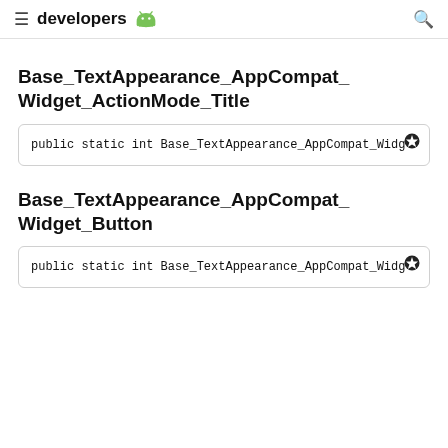developers
Base_TextAppearance_AppCompat_Widget_ActionMode_Title
public static int Base_TextAppearance_AppCompat_Widget_ActionMode_Title
Base_TextAppearance_AppCompat_Widget_Button
public static int Base_TextAppearance_AppCompat_Widget_Button